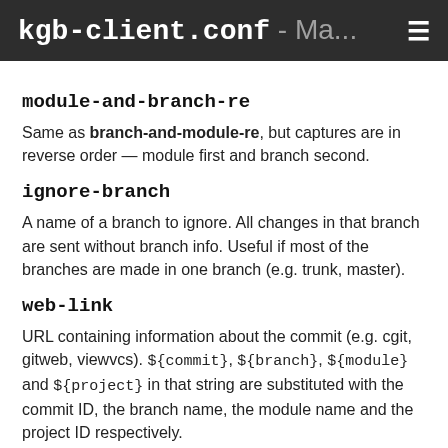kgb-client.conf - Ma...
module-and-branch-re
Same as branch-and-module-re, but captures are in reverse order — module first and branch second.
ignore-branch
A name of a branch to ignore. All changes in that branch are sent without branch info. Useful if most of the branches are made in one branch (e.g. trunk, master).
web-link
URL containing information about the commit (e.g. cgit, gitweb, viewvcs). ${commit}, ${branch}, ${module} and ${project} in that string are substituted with the commit ID, the branch name, the module name and the project ID respectively.
See App::KGB::Client for examples.